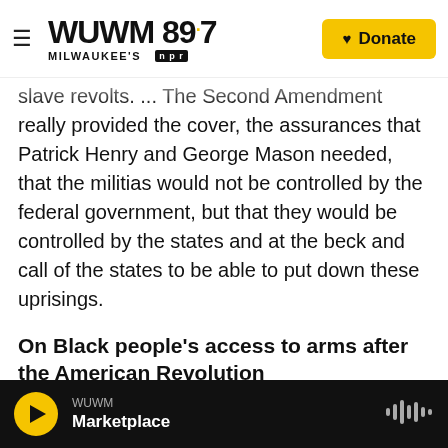WUWM 89.7 MILWAUKEE'S NPR | Donate
slave revolts. ... The Second Amendment really provided the cover, the assurances that Patrick Henry and George Mason needed, that the militias would not be controlled by the federal government, but that they would be controlled by the states and at the beck and call of the states to be able to put down these uprisings.
On Black people's access to arms after the American Revolution
You saw incredible restrictions being put in place about limiting access to arms. And this is across the board for free Blacks and, particularly, for the
WUWM | Marketplace